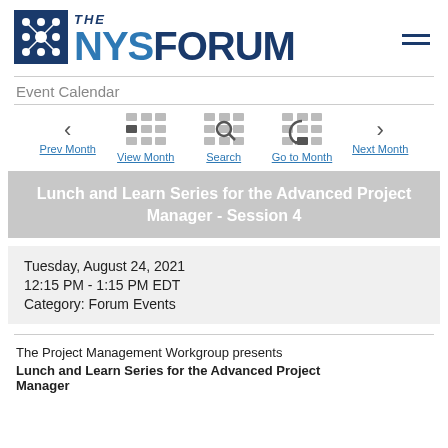[Figure (logo): The NYS Forum logo with grid icon on the left and hamburger menu icon on the right]
Event Calendar
[Figure (infographic): Navigation bar with Prev Month, View Month, Search, Go to Month, Next Month icons and links]
Lunch and Learn Series for the Advanced Project Manager - Session 4
Tuesday, August 24, 2021
12:15 PM - 1:15 PM EDT
Category: Forum Events
The Project Management Workgroup presents
Lunch and Learn Series for the Advanced Project Manager